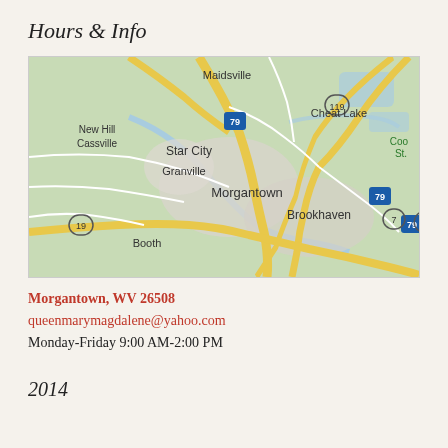Hours & Info
[Figure (map): Google Maps view of Morgantown, WV area showing surrounding neighborhoods including Maidsville, Cheat Lake, Star City, Granville, Brookhaven, Booth, New Hill, Cassville. Roads include I-79, Route 119, Route 19, Route 7, Route 68.]
Morgantown, WV 26508
queenmarymagdalene@yahoo.com
Monday-Friday 9:00 AM-2:00 PM
2014